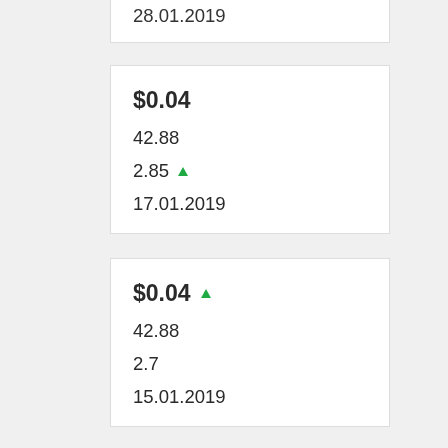| Price | Value1 | Value2 | Date |
| --- | --- | --- | --- |
| 28.01.2019 |  |  |  |
| $0.04 | 42.88 | 2.85 ▲ | 17.01.2019 |
| $0.04 ▲ | 42.88 | 2.7 | 15.01.2019 |
| $0.03 | 42.88 | 2.7 ▲ | 09.01.2019 |